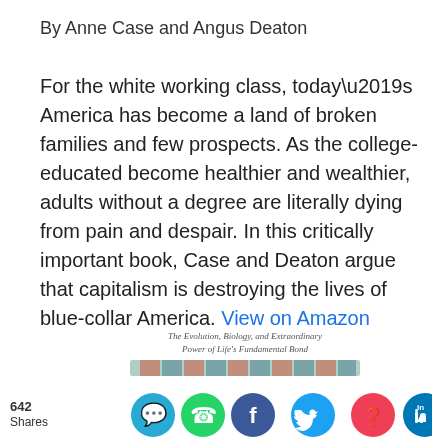By Anne Case and Angus Deaton
For the white working class, today’s America has become a land of broken families and few prospects. As the college-educated become healthier and wealthier, adults without a degree are literally dying from pain and despair. In this critically important book, Case and Deaton argue that capitalism is destroying the lives of blue-collar America. View on Amazon
The Evolution, Biology, and Extraordinary Power of Life’s Fundamental Bond
[Figure (illustration): Book cover image partially visible showing decorative band pattern]
642 Shares
[Figure (infographic): Social sharing icons: SMS (blue), WhatsApp (green), Facebook (dark blue), Twitter (light blue), Pocket (red), LinkedIn (blue)]